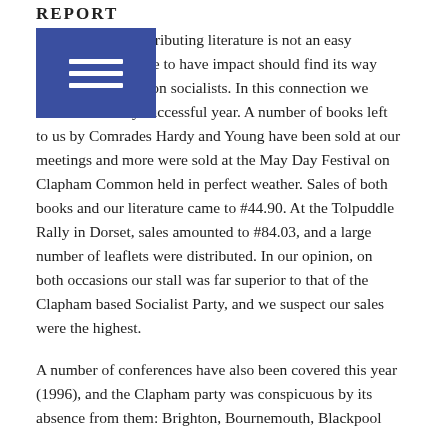REPORT
Publishing and distributing literature is not an easy thing. Our literature to have impact should find its way into the hands of non socialists. In this connection we have had a fairly successful year. A number of books left to us by Comrades Hardy and Young have been sold at our meetings and more were sold at the May Day Festival on Clapham Common held in perfect weather. Sales of both books and our literature came to #44.90. At the Tolpuddle Rally in Dorset, sales amounted to #84.03, and a large number of leaflets were distributed. In our opinion, on both occasions our stall was far superior to that of the Clapham based Socialist Party, and we suspect our sales were the highest.
A number of conferences have also been covered this year (1996), and the Clapham party was conspicuous by its absence from them: Brighton, Bournemouth, Blackpool